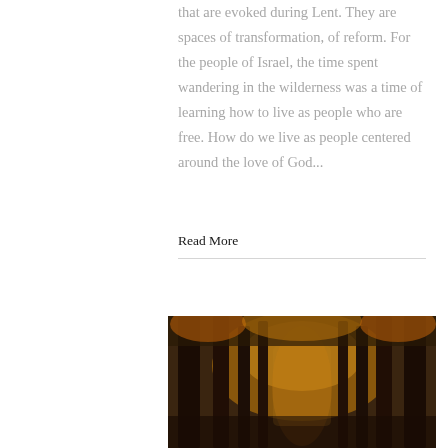that are evoked during Lent. They are spaces of transformation, of reform. For the people of Israel, the time spent wandering in the wilderness was a time of learning how to live as people who are free. How do we live as people centered around the love of God...
Read More
[Figure (photo): A forest path with tall dark tree trunks and warm autumn golden-orange foliage canopy overhead, dimly lit atmospheric photograph]